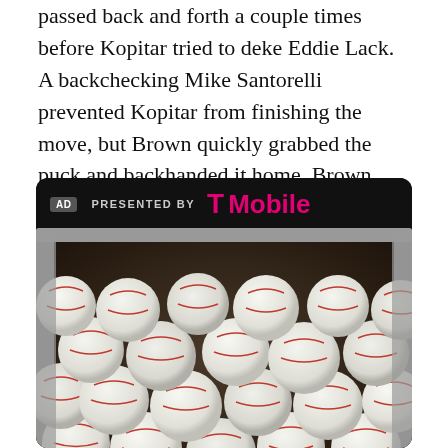passed back and forth a couple times before Kopitar tried to deke Eddie Lack. A backchecking Mike Santorelli prevented Kopitar from finishing the move, but Brown quickly grabbed the puck and backhanded it home. Brown would celebrate with a fist pump and a huge hit on Chris Tanev a bit later.
[Figure (photo): Advertisement banner: 'PRESENTED BY T-Mobile' in magenta on black background, followed by a photograph of a large bucket/cart full of white Rawlings baseballs with red stitching.]